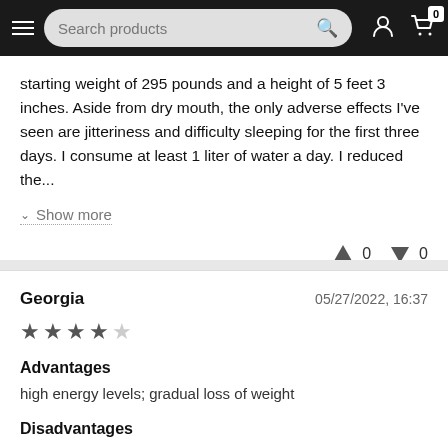Search products
starting weight of 295 pounds and a height of 5 feet 3 inches. Aside from dry mouth, the only adverse effects I've seen are jitteriness and difficulty sleeping for the first three days. I consume at least 1 liter of water a day. I reduced the...
Show more
↑ 0   ↓ 0
Georgia   05/27/2022, 16:37
★★★★☆
Advantages
high energy levels; gradual loss of weight
Disadvantages
Dry mouth; trouble sleeping
Comment